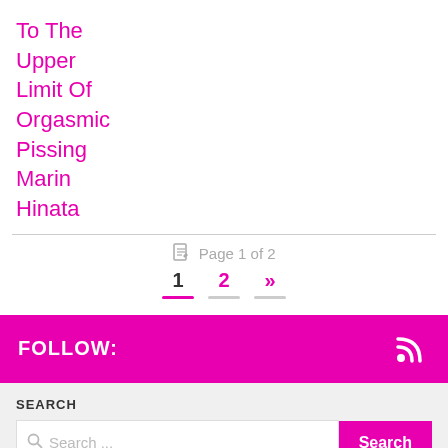To The Upper Limit Of Orgasmic Pissing Marin Hinata
Page 1 of 2
1  2  »
FOLLOW:
SEARCH
Search ...